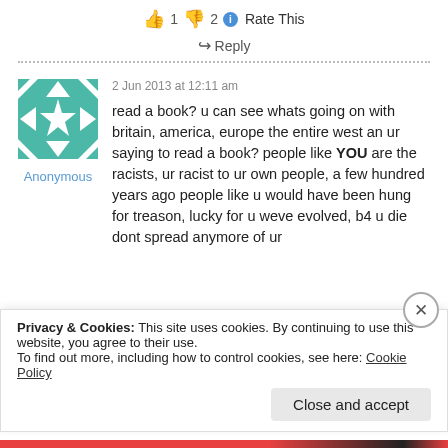👍 1 👎 2 ℹ Rate This
↪ Reply
2 Jun 2013 at 12:11 am
[Figure (illustration): Teal/green geometric quilt-pattern avatar square with star/flower design]
Anonymous
read a book? u can see whats going on with britain, america, europe the entire west an ur saying to read a book? people like YOU are the racists, ur racist to ur own people, a few hundred years ago people like u would have been hung for treason, lucky for u weve evolved, b4 u die dont spread anymore of ur
Privacy & Cookies: This site uses cookies. By continuing to use this website, you agree to their use.
To find out more, including how to control cookies, see here: Cookie Policy
Close and accept